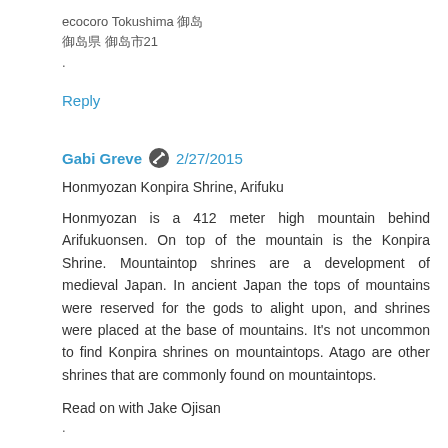ecocoro Tokushima 徳島
徳島県 徳島市21
.
Reply
Gabi Greve 🖊 2/27/2015
Honmyozan Konpira Shrine, Arifuku
Honmyozan is a 412 meter high mountain behind Arifukuonsen. On top of the mountain is the Konpira Shrine. Mountaintop shrines are a development of medieval Japan. In ancient Japan the tops of mountains were reserved for the gods to alight upon, and shrines were placed at the base of mountains. It's not uncommon to find Konpira shrines on mountaintops. Atago are other shrines that are commonly found on mountaintops.
Read on with Jake Ojisan
.